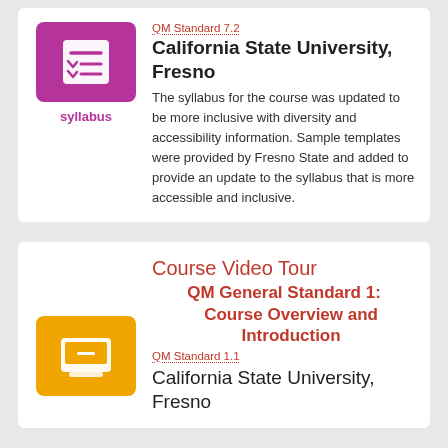[Figure (illustration): Purple icon box with syllabus/checklist graphic]
syllabus
QM Standard 7.2
California State University, Fresno
The syllabus for the course was updated to be more inclusive with diversity and accessibility information. Sample templates were provided by Fresno State and added to provide an update to the syllabus that is more accessible and inclusive.
Course Video Tour
QM General Standard 1: Course Overview and Introduction
QM Standard 1.1
California State University, Fresno
[Figure (illustration): Yellow icon box with video/monitor graphic]